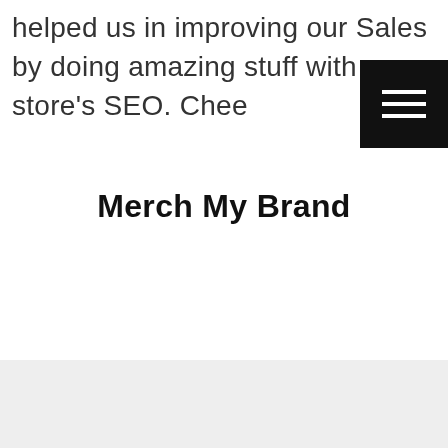helped us in improving our Sales by doing amazing stuff with our store's SEO. Chee
[Figure (other): Hamburger menu icon — black square button with three horizontal white lines]
Merch My Brand
[Figure (other): Carousel pagination dots — three circles: one dark/active, one medium gray, one light gray]